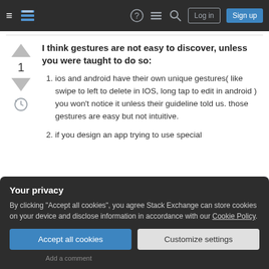Stack Exchange navigation bar with Log in and Sign up buttons
I think gestures are not easy to discover, unless you were taught to do so:
ios and android have their own unique gestures( like swipe to left to delete in IOS, long tap to edit in android ) you won't notice it unless their guideline told us. those gestures are easy but not intuitive.
if you design an app trying to use special
Your privacy
By clicking "Accept all cookies", you agree Stack Exchange can store cookies on your device and disclose information in accordance with our Cookie Policy.